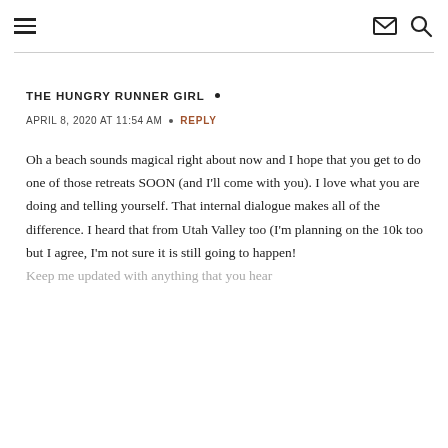≡  ✉ 🔍
THE HUNGRY RUNNER GIRL •
APRIL 8, 2020 AT 11:54 AM • REPLY
Oh a beach sounds magical right about now and I hope that you get to do one of those retreats SOON (and I'll come with you). I love what you are doing and telling yourself. That internal dialogue makes all of the difference. I heard that from Utah Valley too (I'm planning on the 10k too but I agree, I'm not sure it is still going to happen!
Keep me updated with anything that you hear and I hope you do all of the racing you want to do!